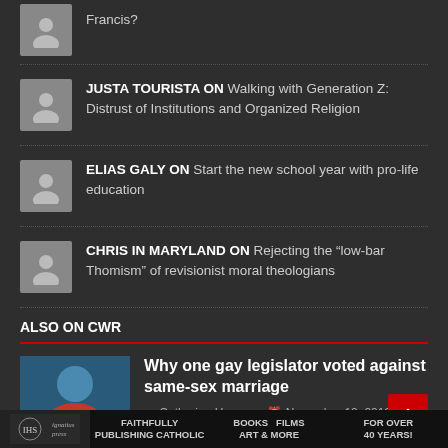Francis?
JUSTA TOURISTA ON Walking with Generation Z: Distrust of Institutions and Organized Religion
ELIAS GALY ON Start the new school year with pro-life education
CHRIS IN MARYLAND ON Rejecting the “low-bar Thomism” of revisionist moral theologians
ALSO ON CWR
Why one gay legislator voted against same-sex marriage
Catherine Harmon   November 12, 2013
Ignatius Press — FAITHFULLY PUBLISHING CATHOLIC — BOOKS FILMS ART & MORE — FOR OVER 40 YEARS!